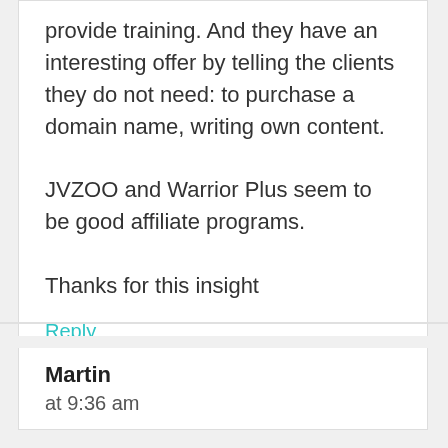provide training. And they have an interesting offer by telling the clients they do not need:  to purchase a domain name, writing own content.

JVZOO and Warrior Plus seem to be good affiliate programs.

Thanks for this insight
Reply
Martin
at 9:36 am